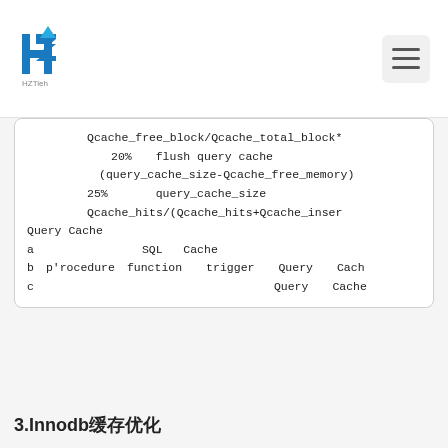HZTieh logo and navigation hamburger menu
Qcache_free_block/Qcache_total_block*
20% flush query cache
query_cache_size-Qcache_free_memory)
25% query_cache_size
Qcache_hits/(Qcache_hits+Qcache_inser
Query Cache
a SQL Cache
b p'rocedure function trigger Query Cach
c Query Cache
3.Innodb缓存优化
innodb_buffer_pool_size
innodb innodb_buffer_pool_size ey_
innodb_flush_log_at_trx_commit
innodb log buffer flush
2 10000
innodb_thread_concurrency=0
innodb 0 CPU